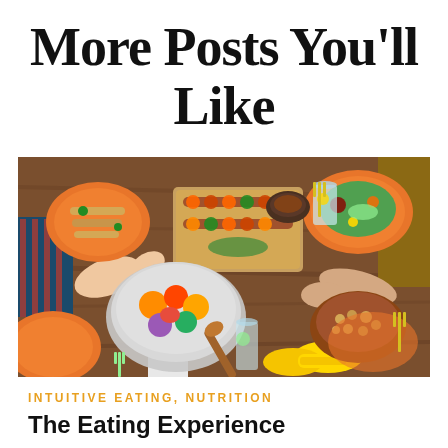More Posts You'll Like
[Figure (photo): Overhead/top-down view of people sharing a meal at a wooden table with various dishes including a fruit salad bowl, grilled skewers, corn, chickpeas, salad with orange plates, and glass cups. Multiple hands reaching for food.]
INTUITIVE EATING, NUTRITION
The Eating Experience